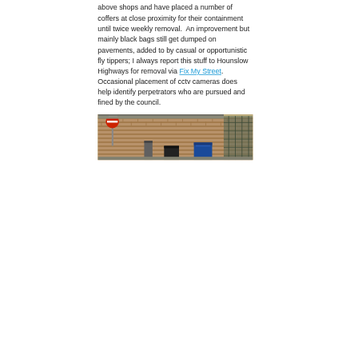above shops and have placed a number of coffers at close proximity for their containment until twice weekly removal.  An improvement but mainly black bags still get dumped on pavements, added to by casual or opportunistic fly tippers; I always report this stuff to Hounslow Highways for removal via Fix My Street. Occasional placement of cctv cameras does help identify perpetrators who are pursued and fined by the council.
[Figure (photo): Street-level photo showing a brick structure or bin store area with a red no-entry road sign visible, blue waste containers, and urban street elements.]